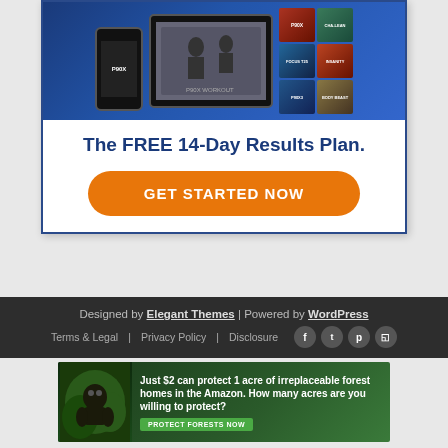[Figure (illustration): Advertisement banner for a fitness streaming service showing a smartphone and tablet displaying workout videos (P90X, ChaLean, Insanity etc.) with a grid of fitness program covers]
The FREE 14-Day Results Plan.
GET STARTED NOW
Designed by Elegant Themes | Powered by WordPress
Terms & Legal   Privacy Policy   Disclosure
[Figure (illustration): Advertisement banner: Just $2 can protect 1 acre of irreplaceable forest homes in the Amazon. How many acres are you willing to protect? PROTECT FORESTS NOW]